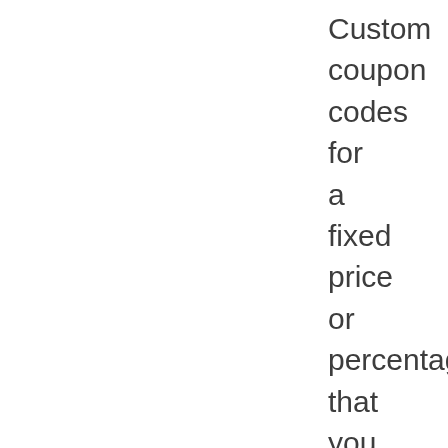Custom coupon codes for a fixed price or percentage.... that you can apply to one or more